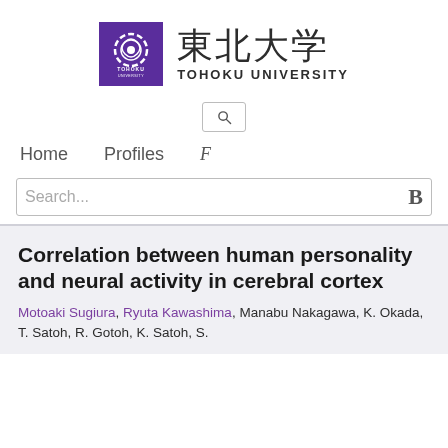[Figure (logo): Tohoku University logo: purple square with circular white snake/dragon emblem and 'TOHOKU UNIVERSITY' text below, alongside Japanese kanji characters '東北大学' and 'TOHOKU UNIVERSITY' in dark text]
[Figure (other): Search magnifying glass icon in a bordered box]
Home   Profiles   F
Search...  B
Correlation between human personality and neural activity in cerebral cortex
Motoaki Sugiura, Ryuta Kawashima, Manabu Nakagawa, K. Okada, T. Satoh, R. Gotoh, K. Satoh, S.